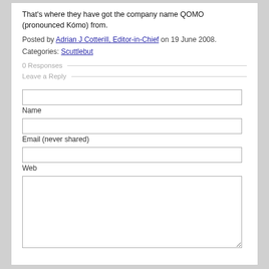That's where they have got the company name QOMO (pronounced Kómo) from.
Posted by Adrian J Cotterill, Editor-in-Chief on 19 June 2008.
Categories: Scuttlebut
0 Responses
Leave a Reply
Name
Email (never shared)
Web